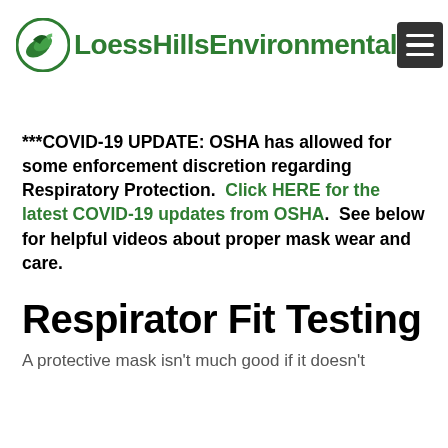LoessHillsEnvironmental
***COVID-19 UPDATE: OSHA has allowed for some enforcement discretion regarding Respiratory Protection.  Click HERE for the latest COVID-19 updates from OSHA.  See below for helpful videos about proper mask wear and care.
Respirator Fit Testing
A protective mask isn't much good if it doesn't